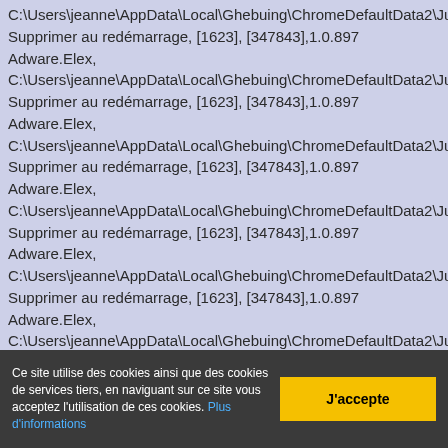C:\Users\jeanne\AppData\Local\Ghebuing\ChromeDefaultData2\Jun
Supprimer au redémarrage, [1623], [347843],1.0.897
Adware.Elex,
C:\Users\jeanne\AppData\Local\Ghebuing\ChromeDefaultData2\Jun
Supprimer au redémarrage, [1623], [347843],1.0.897
Adware.Elex,
C:\Users\jeanne\AppData\Local\Ghebuing\ChromeDefaultData2\Jun
Supprimer au redémarrage, [1623], [347843],1.0.897
Adware.Elex,
C:\Users\jeanne\AppData\Local\Ghebuing\ChromeDefaultData2\Jun
Supprimer au redémarrage, [1623], [347843],1.0.897
Adware.Elex,
C:\Users\jeanne\AppData\Local\Ghebuing\ChromeDefaultData2\Jun
Supprimer au redémarrage, [1623], [347843],1.0.897
Adware.Elex,
C:\Users\jeanne\AppData\Local\Ghebuing\ChromeDefaultData2\Jun
Supprimer au redémarrage, [1623], [347843],1.0.897
Adware.Elex,
C:\Users\jeanne\AppData\Local\Ghebuing\ChromeDefaultData2\Jun
Supprimer au redémarrage, [1623], [347843],1.0.897
Ce site utilise des cookies ainsi que des cookies de services tiers, en naviguant sur ce site vous acceptez l'utilisation de ces cookies. Plus d'informations